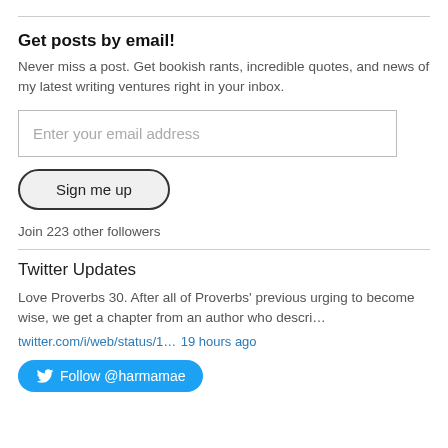Get posts by email!
Never miss a post. Get bookish rants, incredible quotes, and news of my latest writing ventures right in your inbox.
Enter your email address
Sign me up
Join 223 other followers
Twitter Updates
Love Proverbs 30. After all of Proverbs’ previous urging to become wise, we get a chapter from an author who descri…
twitter.com/i/web/status/1… 19 hours ago
Follow @harmamae